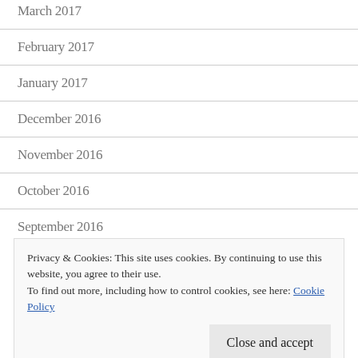March 2017
February 2017
January 2017
December 2016
November 2016
October 2016
September 2016
Privacy & Cookies: This site uses cookies. By continuing to use this website, you agree to their use. To find out more, including how to control cookies, see here: Cookie Policy
Close and accept